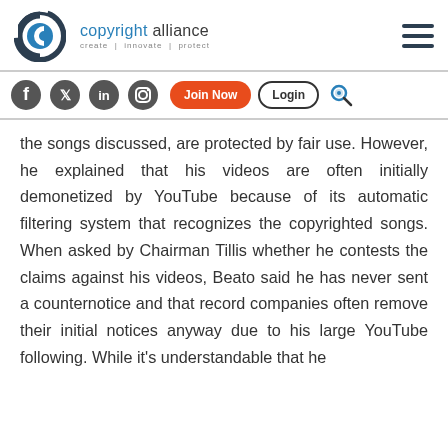[Figure (logo): Copyright Alliance logo with circular C icon and tagline 'create | innovate | protect']
[Figure (screenshot): Website navigation bar with social media icons (Facebook, Twitter, LinkedIn, Instagram), Join Now button (orange), Login button (outlined), and search icon]
the songs discussed, are protected by fair use. However, he explained that his videos are often initially demonetized by YouTube because of its automatic filtering system that recognizes the copyrighted songs. When asked by Chairman Tillis whether he contests the claims against his videos, Beato said he has never sent a counternotice and that record companies often remove their initial notices anyway due to his large YouTube following. While it's understandable that he